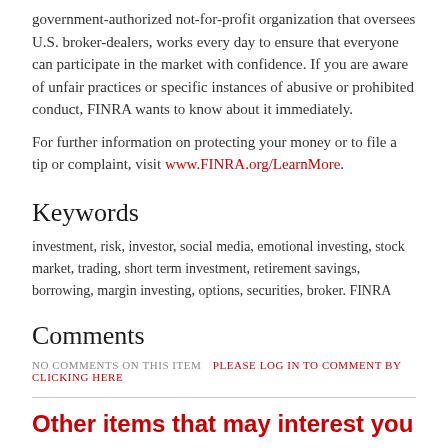government-authorized not-for-profit organization that oversees U.S. broker-dealers, works every day to ensure that everyone can participate in the market with confidence. If you are aware of unfair practices or specific instances of abusive or prohibited conduct, FINRA wants to know about it immediately.
For further information on protecting your money or to file a tip or complaint, visit www.FINRA.org/LearnMore.
Keywords
investment, risk, investor, social media, emotional investing, stock market, trading, short term investment, retirement savings, borrowing, margin investing, options, securities, broker. FINRA
Comments
NO COMMENTS ON THIS ITEM   PLEASE LOG IN TO COMMENT BY CLICKING HERE
Other items that may interest you